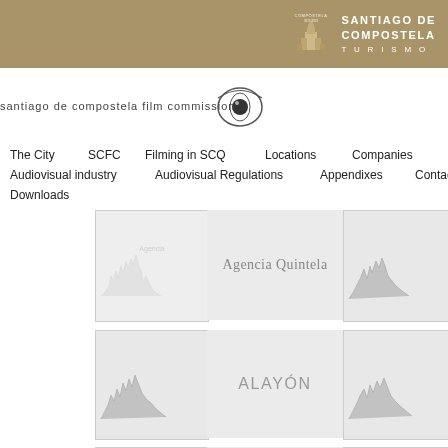Santiago de Compostela Turismo
[Figure (logo): Santiago de Compostela film commission logo with camera lens icon]
The City
SCFC
Filming in SCQ
Locations
Companies
Audiovisual industry
Audiovisual Regulations
Appendixes
Contact
Downloads
[Figure (photo): Company card with skyline silhouette image - Agencia Quintela]
Agencia Quintela
[Figure (photo): Company card with skyline silhouette image - ALAYÓN]
ALAYÓN
[Figure (photo): Company card with skyline silhouette image - Alphabets Academia de Inglés]
ALPHABETS ACADEMIA DE INGLÉS